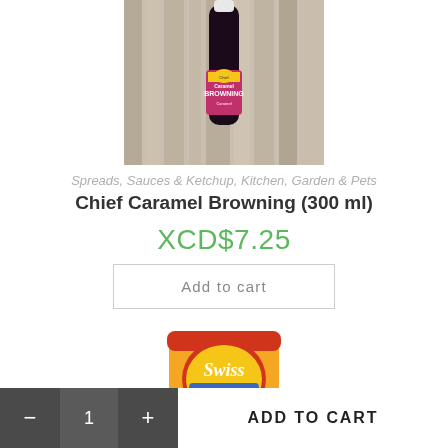[Figure (photo): Photo of Chief Caramel Browning bottle (300ml) against a wooden background]
Spreads, Sauces & Ketchup, Kitchen, Garden & Pets
Chief Caramel Browning (300 ml)
XCD$7.25
Add to cart
[Figure (photo): Photo of Swiss Creamy Peanut Butter jar with red lid and orange label]
- 1 + ADD TO CART